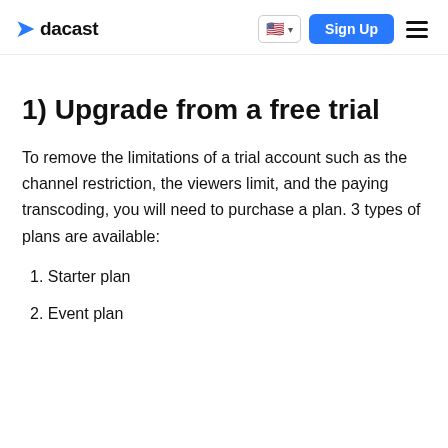dacast | Sign Up
1) Upgrade from a free trial
To remove the limitations of a trial account such as the channel restriction, the viewers limit, and the paying transcoding, you will need to purchase a plan. 3 types of plans are available:
1. Starter plan
2. Event plan